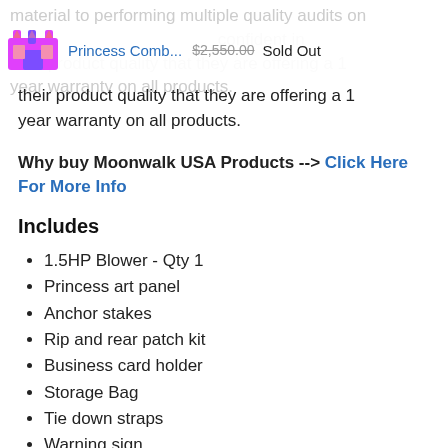material to performing multiple quality audits on their product quality that they are offering a 1 year warranty on all products.
[Figure (screenshot): Product listing bar showing Princess Comb... thumbnail image, price $2,550.00 struck through, and Sold Out label]
their product quality that they are offering a 1 year warranty on all products.
Why buy Moonwalk USA Products --> Click Here For More Info
Includes
1.5HP Blower - Qty 1
Princess art panel
Anchor stakes
Rip and rear patch kit
Business card holder
Storage Bag
Tie down straps
Warning sign
Fire retardant & lead free certificate
Inflation/Deflation air tubes